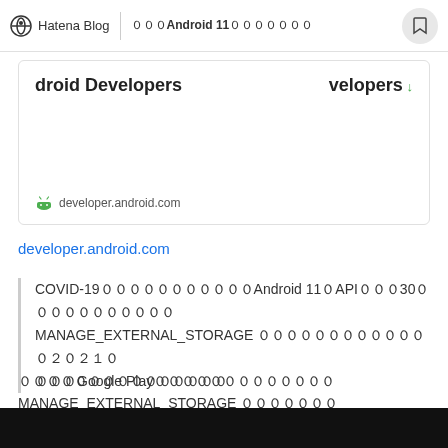Hatena Blog | ００００Android 11００００００００
[Figure (screenshot): Card with bold heading 'droid Developers' and 'velopers' on right side, with Android icon and developer.android.com footer]
developer.android.com
COVID-19０００００００００００Android 11０API０００30００００００００００ MANAGE_EXTERNAL_STORAGE ００００００００００００００2021０００ ０００Google Play０００００００００００００
０００００００００００００００ MANAGE_EXTERNAL_STORAGE ０００００００ ０００００００００００００００００００００００Google００...